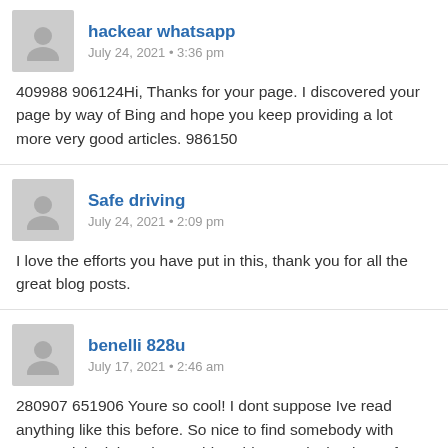hackear whatsapp
July 24, 2021 • 3:36 pm
409988 906124Hi, Thanks for your page. I discovered your page by way of Bing and hope you keep providing a lot more very good articles. 986150
Safe driving
July 24, 2021 • 2:09 pm
I love the efforts you have put in this, thank you for all the great blog posts.
benelli 828u
July 17, 2021 • 2:46 am
280907 651906 Youre so cool! I dont suppose Ive read anything like this before. So nice to find somebody with some original thoughts on this subject. realy thank you for